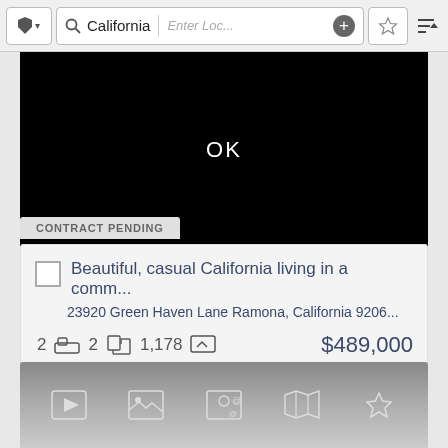[Figure (screenshot): Top search bar with shield button, search icon, 'California' text, 'Enter Loc...' placeholder, plus button, star button, and sort button]
[Figure (screenshot): Black map/image area with 'OK' text in white center]
CONTRACT PENDING
Beautiful, casual California living in a comm...
23920 Green Haven Lane Ramona, California 9206...
2  [bed icon]  2  [bath icon]  1,178  [sqft icon]  $489,000
[Figure (screenshot): Bottom toolbar with play, image, contact, map, and star icons on gradient gray background]